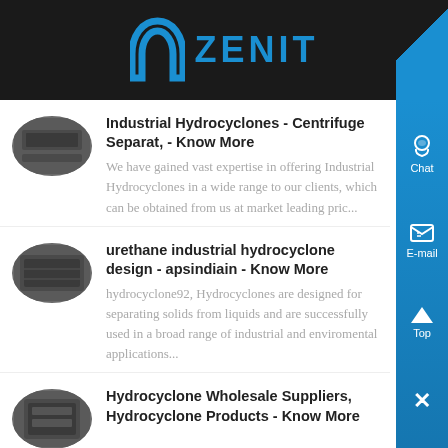ZENIT
[Figure (logo): ZENIT logo with blue arch icon and blue text on dark background]
[Figure (photo): Thumbnail image of industrial hydrocyclone equipment]
Industrial Hydrocyclones - Centrifuge Separat, - Know More
We have gained vast expertise in offering Industrial Hydrocyclones in a wide range to our clients, which can be obtained from us at market leading pric...
[Figure (photo): Thumbnail image of urethane industrial hydrocyclone]
urethane industrial hydrocyclone design - apsindiain - Know More
hydrocyclone92, Hydrocyclones are designed for separating solids from liquids and are successfully used in a broad range of industrial and enviromental applications...
[Figure (photo): Thumbnail image of hydrocyclone wholesale products]
Hydrocyclone Wholesale Suppliers, Hydrocyclone Products - Know More